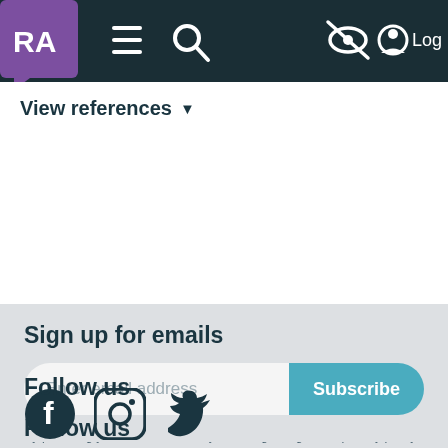[Figure (screenshot): Navigation bar with RA logo (purple square with speech bubble), hamburger menu, search icon, eye-slash icon, and Log in button on dark teal background]
View references ▾
Sign up for emails
Enter email address  Subscribe
By providing your email address, you are agreeing to our privacy policy.
Follow us
[Figure (illustration): Facebook, Instagram, and Twitter social media icons in dark teal color]